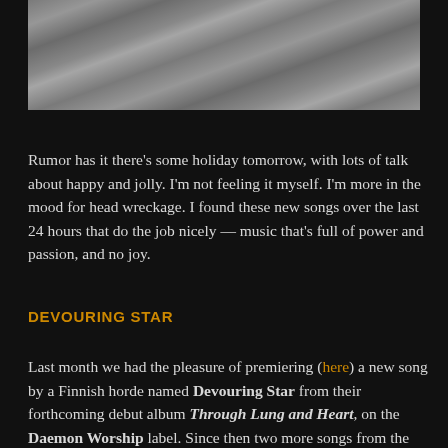[Figure (photo): Black and white pencil drawing or photograph of a lion or animal with detailed fur texture, cropped to show upper portion.]
Rumor has it there's some holiday tomorrow, with lots of talk about happy and jolly. I'm not feeling it myself. I'm more in the mood for head wreckage. I found these new songs over the last 24 hours that do the job nicely — music that's full of power and passion, and no joy.
DEVOURING STAR
Last month we had the pleasure of premiering (here) a new song by a Finnish horde named Devouring Star from their forthcoming debut album Through Lung and Heart, on the Daemon Worship label. Since then two more songs from the album have been revealed, the latest one just this morning. Austin Weber described the song we premiered as "an apocalyptic ode to true worshipers of the dark arts, teeming with